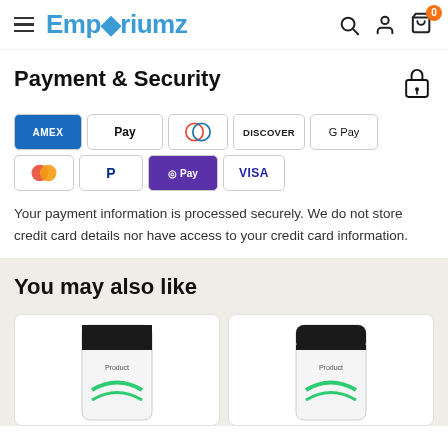Emporiumz — navigation bar with hamburger menu, logo, search, account, and cart (0 items)
Payment & Security
[Figure (infographic): Payment method badges: AMEX, Apple Pay, Diners Club, Discover, Google Pay, Mastercard, PayPal, Shop Pay, Visa]
Your payment information is processed securely. We do not store credit card details nor have access to your credit card information.
You may also like
[Figure (photo): Two product cards showing white medication/supplement boxes with green star logo, partially visible]